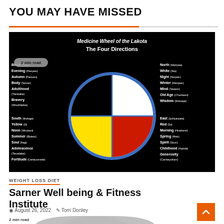YOU MAY HAVE MISSED
[Figure (illustration): Medicine Wheel of the Lakota - The Four Directions. A circular diagram divided into four quadrants: black (top-left), white (top-right), yellow (bottom-left), red (bottom-right), with a blue border. Left side labels: Black, Evening, Autumn, Body, Adulthood, Bravery, South, Yellow, Noon, Summer, Soul, Adolescence, Fortitude. Right side labels: North, White, Night, Winter, Mind, Old Age, Wisdom, East, Red, Morning, Spring, Spirit, Childhood, Generosity. Badge reads '2 min read'.]
WEIGHT LOSS DIET
Sarner Well being & Fitness Institute
August 26, 2022  Torri Donley
[Figure (photo): Partial image of a fitness or wellness related article, showing a gray rounded object at the bottom of the page. Badge reads '2 min read'.]